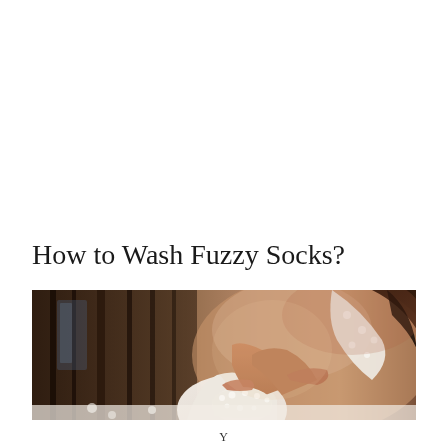How to Wash Fuzzy Socks?
[Figure (photo): Person sitting wearing fuzzy/fluffy white socks and cozy sweater, legs crossed, on a light surface, blurred background with dark wooden elements]
Y